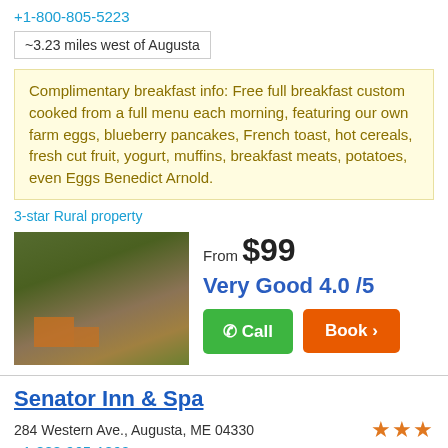+1-800-805-5223
~3.23 miles west of Augusta
Complimentary breakfast info: Free full breakfast custom cooked from a full menu each morning, featuring our own farm eggs, blueberry pancakes, French toast, hot cereals, fresh cut fruit, yogurt, muffins, breakfast meats, potatoes, even Eggs Benedict Arnold.
3-star Rural property
[Figure (photo): Aerial view of rural property with orange/red buildings surrounded by green trees]
From $99
Very Good 4.0 /5
Call
Book >
Senator Inn & Spa
284 Western Ave., Augusta, ME 04330
+1-888-965-1860
Comp. breakfast included
Three Star Suburban hotel
[Figure (photo): Photo of hotel exterior]
From $65